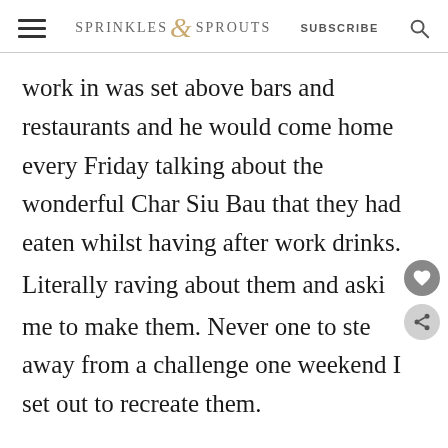Sprinkles & Sprouts  SUBSCRIBE
work in was set above bars and restaurants and he would come home every Friday talking about the wonderful Char Siu Bau that they had eaten whilst having after work drinks. Literally raving about them and asking me to make them. Never one to step away from a challenge one weekend I set out to recreate them.